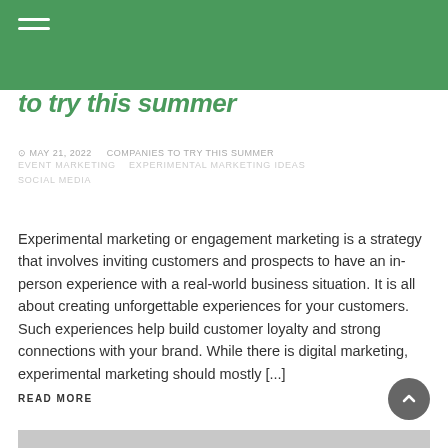[navigation header with hamburger menu]
to try this summer
MAY 21, 2022   COMPANIES TO TRY THIS SUMMER   EVENT MARKETING   EXPERIMENTAL MARKETING IDEAS   SOCIAL MEDIA
Experimental marketing or engagement marketing is a strategy that involves inviting customers and prospects to have an in-person experience with a real-world business situation. It is all about creating unforgettable experiences for your customers. Such experiences help build customer loyalty and strong connections with your brand. While there is digital marketing, experimental marketing should mostly [...]
READ MORE